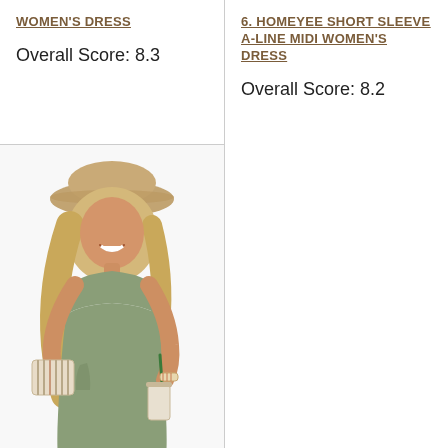WOMEN'S DRESS
Overall Score: 8.3
6. HOMEYEE SHORT SLEEVE A-LINE MIDI WOMEN'S DRESS
Overall Score: 8.2
[Figure (photo): Woman wearing a sage green sleeveless casual midi dress, smiling, holding a Starbucks iced drink, with long blonde wavy hair and a sun hat, carrying a woven bag.]